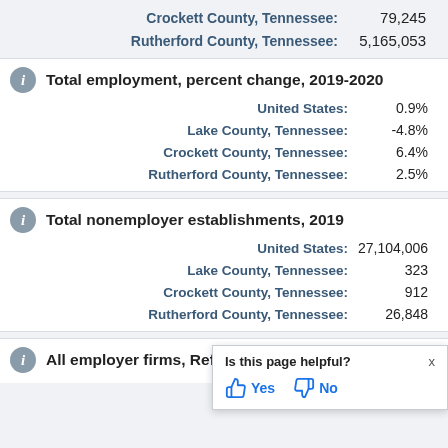Crockett County, Tennessee: 79,245
Rutherford County, Tennessee: 5,165,053
Total employment, percent change, 2019-2020
United States: 0.9%
Lake County, Tennessee: -4.8%
Crockett County, Tennessee: 6.4%
Rutherford County, Tennessee: 2.5%
Total nonemployer establishments, 2019
United States: 27,104,006
Lake County, Tennessee: 323
Crockett County, Tennessee: 912
Rutherford County, Tennessee: 26,848
All employer firms, Reference
Is this page helpful? Yes No